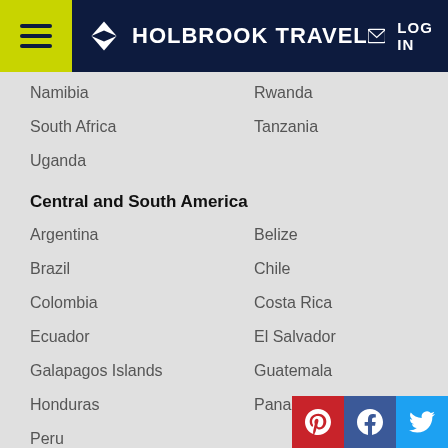HOLBROOK TRAVEL
Namibia
Rwanda
South Africa
Tanzania
Uganda
Central and South America
Argentina
Belize
Brazil
Chile
Colombia
Costa Rica
Ecuador
El Salvador
Galapagos Islands
Guatemala
Honduras
Panama
Peru
Asia and Pacific
Australia
India
New Zealand
Polar Regions